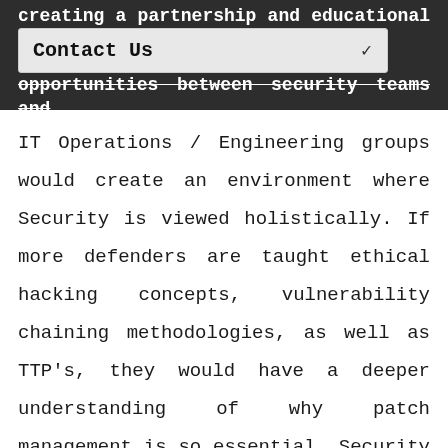creating a partnership and educational opportunities between security teams and
Contact Us
IT Operations / Engineering groups would create an environment where Security is viewed holistically. If more defenders are taught ethical hacking concepts, vulnerability chaining methodologies, as well as TTP's, they would have a deeper understanding of why patch management is so essential. Security should be a conversation between all teams in the Enterprise, to help prevent attacks, but